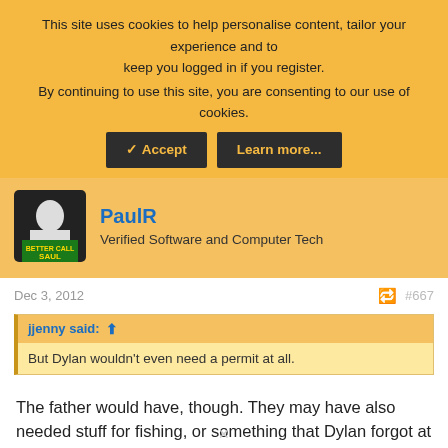This site uses cookies to help personalise content, tailor your experience and to keep you logged in if you register.
By continuing to use this site, you are consenting to our use of cookies.
✓ Accept | Learn more...
PaulR
Verified Software and Computer Tech
Dec 3, 2012
#667
jjenny said: ↑
But Dylan wouldn't even need a permit at all.
The father would have, though. They may have also needed stuff for fishing, or something that Dylan forgot at home.